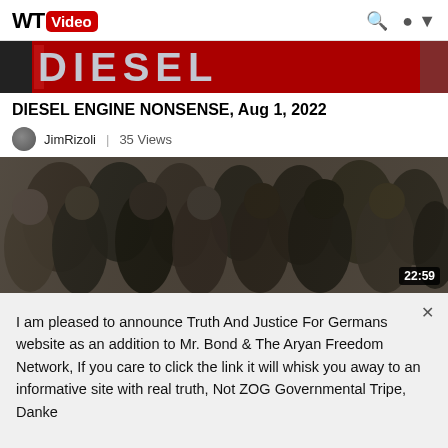WT Video
[Figure (photo): Red DIESEL banner/logo image, partially cropped]
DIESEL ENGINE NONSENSE, Aug 1, 2022
JimRizoli | 35 Views
[Figure (photo): Black and white historical photograph of a crowd of people, video thumbnail with duration 22:59]
I am pleased to announce Truth And Justice For Germans website as an addition to Mr. Bond & The Aryan Freedom Network, If you care to click the link it will whisk you away to an informative site with real truth, Not ZOG Governmental Tripe, Danke